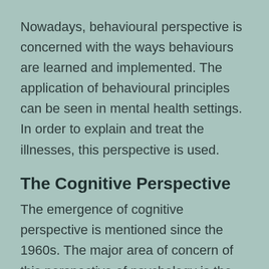Nowadays, behavioural perspective is concerned with the ways behaviours are learned and implemented. The application of behavioural principles can be seen in mental health settings. In order to explain and treat the illnesses, this perspective is used.
The Cognitive Perspective
The emergence of cognitive perspective is mentioned since the 1960s. The major area of concern of this perspective of psychology is the mental processes. It includes thinking, memory, language, decision making, and